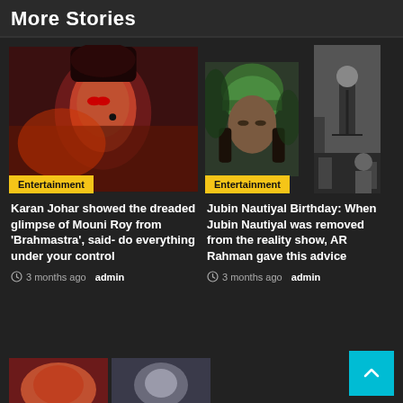More Stories
[Figure (photo): Woman with red dramatic makeup and hair accessories - entertainment photo]
Entertainment
[Figure (photo): Man wearing green turban and black and white photo of performer at mic - entertainment photos]
Entertainment
Karan Johar showed the dreaded glimpse of Mouni Roy from 'Brahmastra', said- do everything under your control
3 months ago  admin
Jubin Nautiyal Birthday: When Jubin Nautiyal was removed from the reality show, AR Rahman gave this advice
3 months ago  admin
[Figure (photo): Two partially visible entertainment news card images at bottom of page]